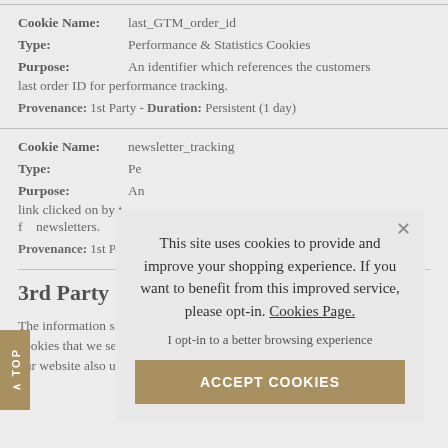| Field | Value |
| --- | --- |
| Cookie Name: | last_GTM_order_id |
| Type: | Performance & Statistics Cookies |
| Purpose: | An identifier which references the customers last order ID for performance tracking. |
| Provenance: | 1st Party - Duration: Persistent (1 day) |
| Field | Value |
| --- | --- |
| Cookie Name: | newsletter_tracking |
| Type: | Pe[rformance & Statistics Cookies] |
| Purpose: | An [identifier] link clicked on by t[he customer] f[rom] newsletters. |
| Provenance: | 1st Pa[rty - Duration: Persistent (1 day)] |
3rd Party S[ervices]
The information se[t by] cookies that we se[t on] our website also uses third party cookies which are set by a
This site uses cookies to provide and improve your shopping experience. If you want to benefit from this improved service, please opt-in. Cookies Page.
I opt-in to a better browsing experience
ACCEPT COOKIES